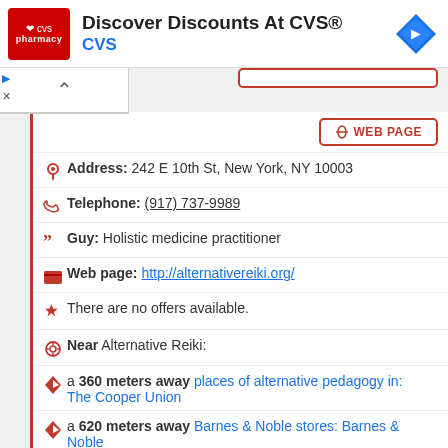[Figure (screenshot): CVS Pharmacy advertisement banner with red logo, headline 'Discover Discounts At CVS®', subtext 'CVS', and blue navigation diamond icon]
WEB PAGE
Address: 242 E 10th St, New York, NY 10003
Telephone: (917) 737-9989
Guy: Holistic medicine practitioner
Web page: http://alternativereiki.org/
There are no offers available.
Near Alternative Reiki:
a 360 meters away places of alternative pedagogy in: The Cooper Union
a 620 meters away Barnes & Noble stores: Barnes & Noble